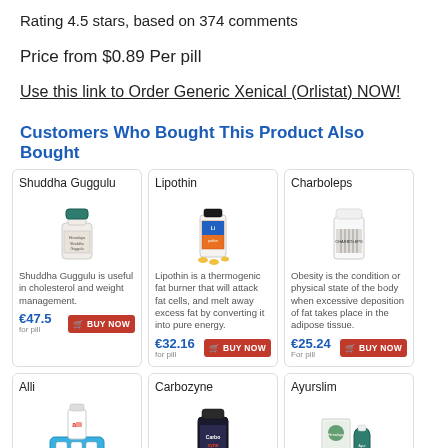Rating 4.5 stars, based on 374 comments
Price from $0.89 Per pill
Use this link to Order Generic Xenical (Orlistat) NOW!
Customers Who Bought This Product Also Bought
[Figure (other): Product card: Shuddha Guggulu - white bottle with green cap. Description: Shuddha Guggulu is useful in cholesterol and weight management. Price: €47.5 for pill. BUY NOW button.]
[Figure (other): Product card: Lipothin - supplement bottle with capsules. Description: Lipothin is a thermogenic fat burner that will attack fat cells, and melt away excess fat by converting it into pure energy. Price: €32.16 for pill. BUY NOW button.]
[Figure (other): Product card: Charboleps - white bottle. Description: Obesity is the condition or physical state of the body when excessive deposition of fat takes place in the adipose tissue. Price: €25.24 for pill. BUY NOW button.]
[Figure (other): Product card: Alli - pill organizer case with Alli branding.]
[Figure (other): Product card: Carbozyne - dark supplement bottle.]
[Figure (other): Product card: Ayurslim - Himalaya branded box and tube.]